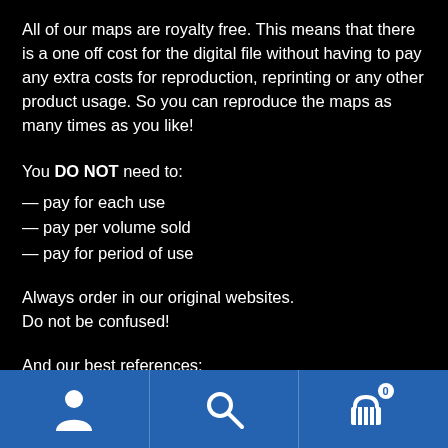All of our maps are royalty free. This means that there is a one off cost for the digital file without having to pay any extra costs for reproduction, reprinting or any other product usage. So you can reproduce the maps as many times as you like!
You DO NOT need to:
— pay for each use
— pay per volume sold
— pay for period of use
Always order in our original websites.
Do not be confused!
And our best references:
[Figure (infographic): Blue bottom navigation bar with three icons: person/user icon on left, search/magnifying glass icon in center, shopping cart icon with badge showing '0' on right]